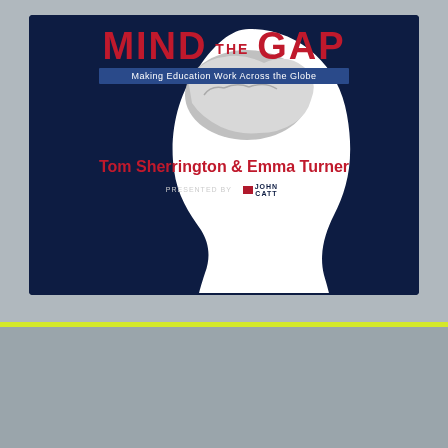[Figure (illustration): Mind the Gap podcast cover art. Dark navy blue square with a white silhouette of a human head in profile facing right, with a brain visible inside the head. Bold red title text 'MIND THE GAP' with 'THE' in smaller text between MIND and GAP. Subtitle bar reads 'Making Education Work Across the Globe'. Text 'HOSTED BY Tom Sherrington & Emma Turner' in white and red. 'PRESENTED BY' text with John Catt publisher logo.]
@teacherhead consulting Contact me